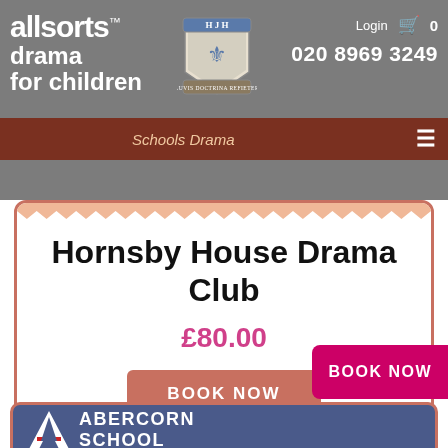[Figure (screenshot): Allsorts Drama for Children website header with logo, school crest, login/cart, phone number, and navigation bar with Schools Drama link]
Hornsby House Drama Club
£80.00
BOOK NOW
BOOK NOW
[Figure (logo): Abercorn School logo with A symbol and text ABERCORN SCHOOL on blue background]